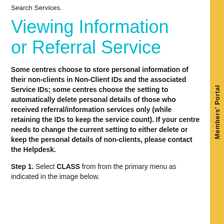Search Services.
Viewing Information or Referral Service
Some centres choose to store personal information of their non-clients in Non-Client IDs and the associated Service IDs; some centres choose the setting to automatically delete personal details of those who received referral/information services only (while retaining the IDs to keep the service count). If your centre needs to change the current setting to either delete or keep the personal details of non-clients, please contact the Helpdesk.
Step 1. Select CLASS from from the primary menu as indicated in the image below.
Members' Portal